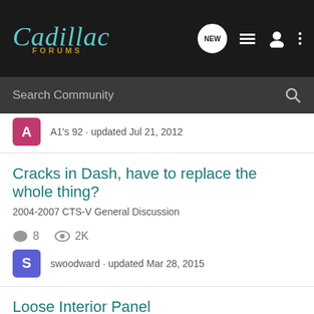Cadillac Forums
Search Community
A1's 92 · updated Jul 21, 2012
Cracks in Dash, have to replace the whole thing?
2004-2007 CTS-V General Discussion
8 replies · 2K views
swoodward · updated Mar 28, 2015
Loose Interior Panel
2004-2007 CTS-V General Discussion
4 replies · 907 views
6104696 · updated Nov 1, 2004